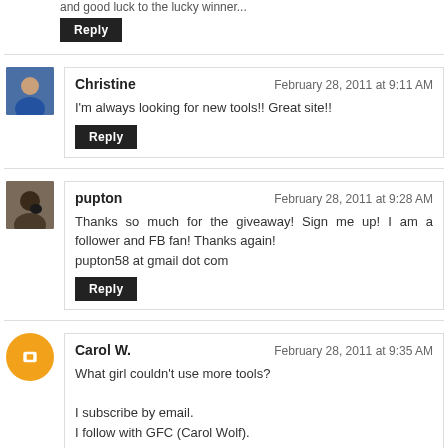and good luck to the lucky winner...
Reply
Christine — February 28, 2011 at 9:11 AM
I'm always looking for new tools!! Great site!!
Reply
pupton — February 28, 2011 at 9:28 AM
Thanks so much for the giveaway! Sign me up! I am a follower and FB fan! Thanks again!
pupton58 at gmail dot com
Reply
Carol W. — February 28, 2011 at 9:35 AM
What girl couldn't use more tools?

I subscribe by email.
I follow with GFC (Carol Wolf).